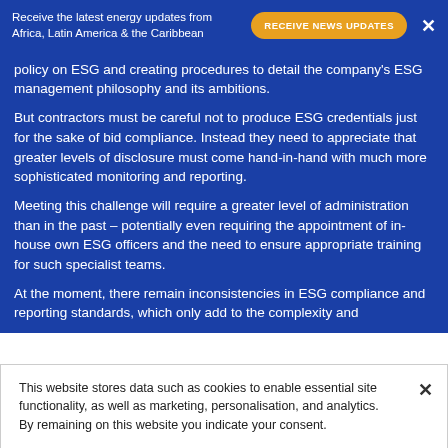Receive the latest energy updates from Africa, Latin America & the Caribbean | RECEIVE NEWS UPDATES | X
policy on ESG and creating procedures to detail the company's ESG management philosophy and its ambitions.
But contractors must be careful not to produce ESG credentials just for the sake of bid compliance. Instead they need to appreciate that greater levels of disclosure must come hand-in-hand with much more sophisticated monitoring and reporting.
Meeting this challenge will require a greater level of administration than in the past – potentially even requiring the appointment of in-house own ESG officers and the need to ensure appropriate training for such specialist teams.
At the moment, there remain inconsistencies in ESG compliance and reporting standards, which only add to the complexity and
This website stores data such as cookies to enable essential site functionality, as well as marketing, personalisation, and analytics. By remaining on this website you indicate your consent.